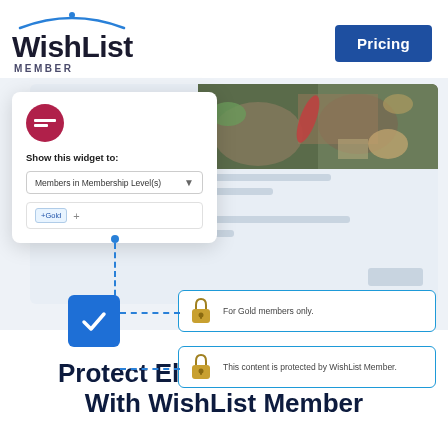[Figure (logo): WishList Member logo with blue arc above text and MEMBER subtitle, plus blue Pricing button]
[Figure (screenshot): Screenshot showing a widget popup with 'Show this widget to: Members in Membership Level(s)' dropdown and '+Gold +' tag input, overlaid on a browser mockup with food photo and gray placeholder lines. Below: blue checkbox icon connected by dashed lines to two protection boxes reading 'For Gold members only.' and 'This content is protected by WishList Member.']
Protect Elementor Widgets With WishList Member